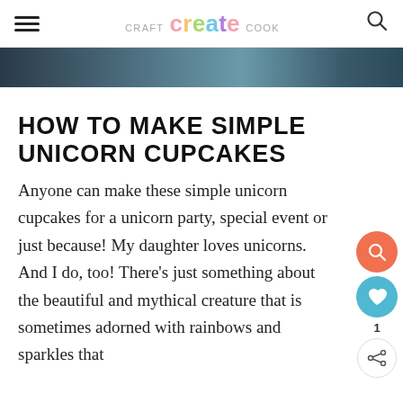CRAFT create COOK
[Figure (photo): Partial view of unicorn cupcakes on a dark background, cropped at top of page]
HOW TO MAKE SIMPLE UNICORN CUPCAKES
Anyone can make these simple unicorn cupcakes for a unicorn party, special event or just because! My daughter loves unicorns. And I do, too! There's just something about the beautiful and mythical creature that is sometimes adorned with rainbows and sparkles that